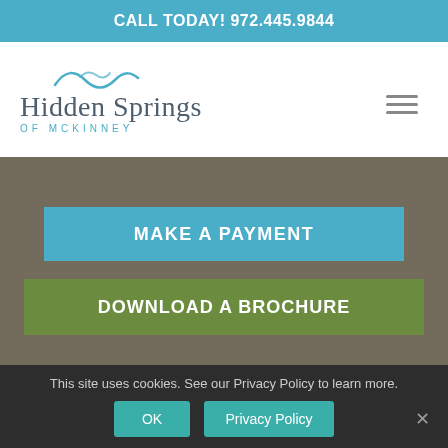CALL TODAY! 972.445.9844
[Figure (logo): Hidden Springs of McKinney logo with teal wave design]
MAKE A PAYMENT
DOWNLOAD A BROCHURE
This site uses cookies. See our Privacy Policy to learn more.
OK
Privacy Policy